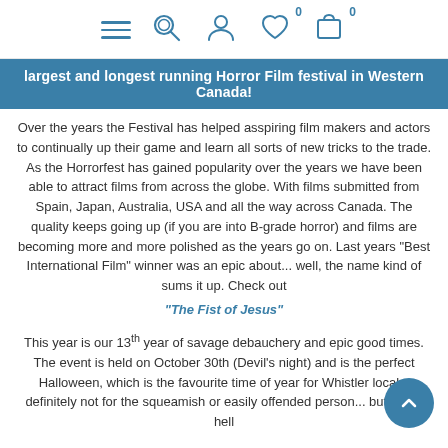Navigation icons: hamburger menu, search, user, heart (0), cart (0)
largest and longest running Horror Film festival in Western Canada!
Over the years the Festival has helped asspiring film makers and actors to continually up their game and learn all sorts of new tricks to the trade.  As the Horrorfest has gained popularity over the years we have been able to attract films from across the globe.  With films submitted from Spain, Japan, Australia, USA and all the way across Canada.  The quality keeps going up (if you are into B-grade horror) and films are becoming more and more polished as the years go on.  Last years "Best International Film" winner was an epic about... well, the name kind of sums it up.  Check out
"The Fist of Jesus"
This year is our 13th year of savage debauchery and epic good times.  The event is held on October 30th (Devil's night) and is the perfect Halloween, which is the favourite time of year for Whistler locals.  definitely not for the squeamish or easily offended person... but it one hell